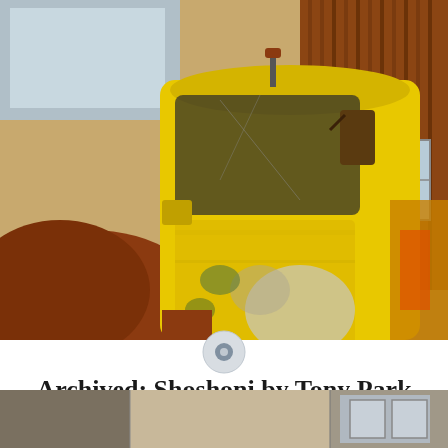[Figure (photo): A vintage yellow rusted truck parked in front of a building with wooden siding and glass windows. The truck has heavily peeling paint revealing rust and green underneath, with a cracked windshield and side mirror visible.]
Archived: Shoshoni by Tony Park
[Figure (photo): Partial view of a second photograph at the bottom of the page showing what appears to be a building exterior scene.]